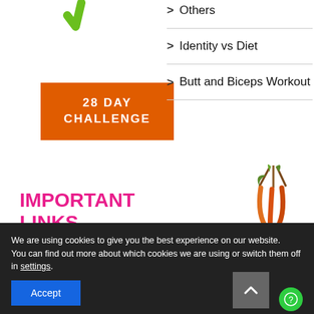[Figure (illustration): Green checkmark or leaf shape at top of left column]
[Figure (illustration): Orange rectangle button with text '28 DAY CHALLENGE']
Others
Identity vs Diet
Butt and Biceps Workout
IMPORTANT LINKS
[Figure (photo): A hand holding colorful carrots/vegetables]
We are using cookies to give you the best experience on our website.
You can find out more about which cookies we are using or switch them off in settings.
Accept